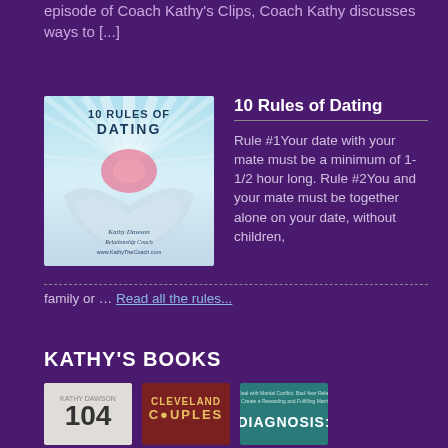episode of Coach Kathy's Clips, Coach Kathy discusses ways to [...]
10 Rules of Dating
[Figure (illustration): Book cover for '10 Rules of Dating' featuring radiating light rays in teal and pink/red over a heart shape, with text 'Kathy Dawson Relationship Coach www.KathyTheCoach.com']
Rule #1Your date with your mate must be a minimum of 1-1/2 hour long. Rule #2You and your mate must be together alone on your date, without children, family or … Read all the rules...
KATHY'S BOOKS
[Figure (illustration): Book cover showing '104' with a light gray background]
[Figure (illustration): Book cover for 'Cleveland Couples' with a maroon background]
[Figure (illustration): Book cover for 'Diagnosis:' with a teal background and small text above]